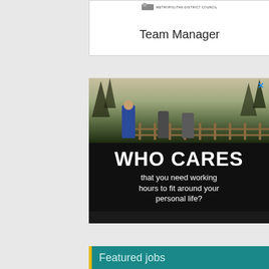[Figure (logo): Metropolitan District Council logo at top of job listing card]
Team Manager
[Figure (photo): Outdoor scene with people near a wooden fence and trees. Large white text overlay reads 'WHO CARES that you need working hours to fit around your personal life?' with a close (X) button. Advertisement banner.]
Featured jobs